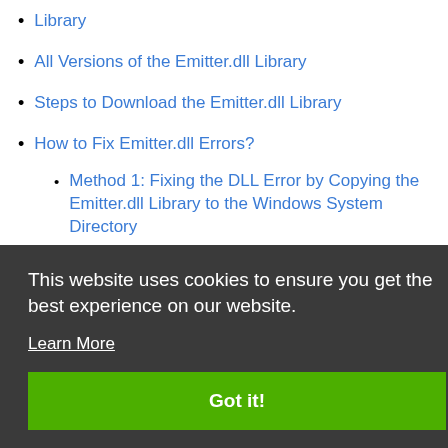Library
All Versions of the Emitter.dll Library
Steps to Download the Emitter.dll Library
How to Fix Emitter.dll Errors?
Method 1: Fixing the DLL Error by Copying the Emitter.dll Library to the Windows System Directory
This website uses cookies to ensure you get the best experience on our website.
Learn More
Got it!